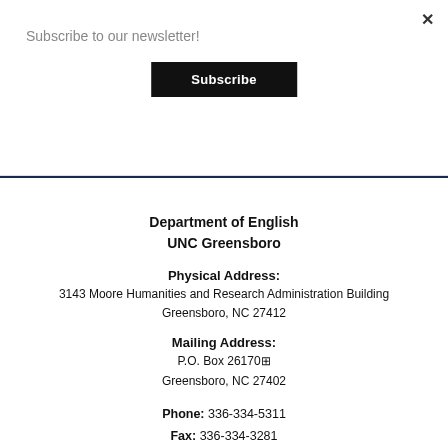Subscribe to our newsletter!
Subscribe
Craig Nord's website
Department of English
UNC Greensboro
Physical Address:
3143 Moore Humanities and Research Administration Building
Greensboro, NC 27412
Mailing Address:
P.O. Box 26170
Greensboro, NC 27402
Phone: 336-334-5311
Fax: 336-334-3281